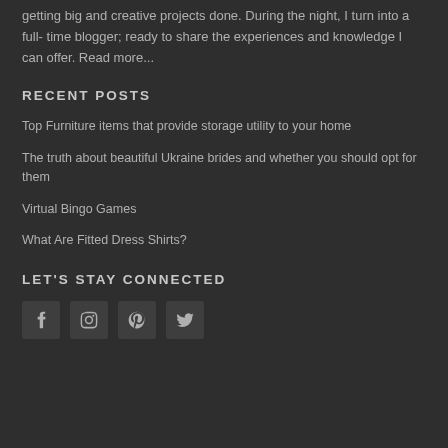getting big and creative projects done. During the night, I turn into a full- time blogger; ready to share the experiences and knowledge I can offer. Read more...
RECENT POSTS
Top Furniture items that provide storage utility to your home
The truth about beautiful Ukraine brides and whether you should opt for them
Virtual Bingo Games
What Are Fitted Dress Shirts?
LET'S STAY CONNECTED
[Figure (other): Social media icons: Facebook, Instagram, Pinterest, Twitter]